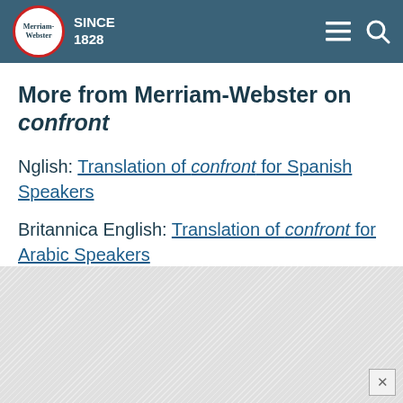Merriam-Webster SINCE 1828
More from Merriam-Webster on confront
Nglish: Translation of confront for Spanish Speakers
Britannica English: Translation of confront for Arabic Speakers